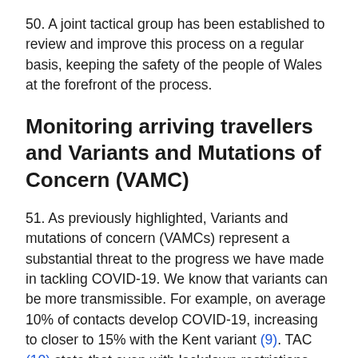50. A joint tactical group has been established to review and improve this process on a regular basis, keeping the safety of the people of Wales at the forefront of the process.
Monitoring arriving travellers and Variants and Mutations of Concern (VAMC)
51. As previously highlighted, Variants and mutations of concern (VAMCs) represent a substantial threat to the progress we have made in tackling COVID-19. We know that variants can be more transmissible. For example, on average 10% of contacts develop COVID-19, increasing to closer to 15% with the Kent variant (9). TAC (10) state that even with lockdown restrictions, the higher rate of transmission of the variant could